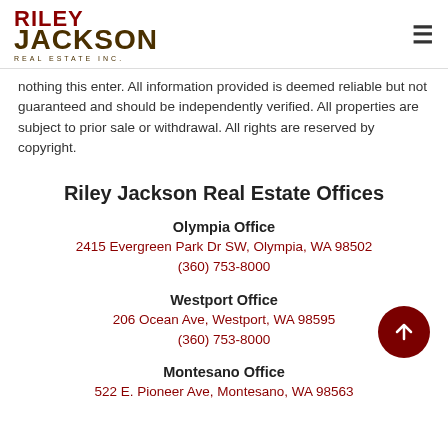Riley Jackson Real Estate Inc.
nothing this enter. All information provided is deemed reliable but not guaranteed and should be independently verified. All properties are subject to prior sale or withdrawal. All rights are reserved by copyright.
Riley Jackson Real Estate Offices
Olympia Office
2415 Evergreen Park Dr SW, Olympia, WA 98502
(360) 753-8000
Westport Office
206 Ocean Ave, Westport, WA 98595
(360) 753-8000
Montesano Office
522 E. Pioneer Ave, Montesano, WA 98563